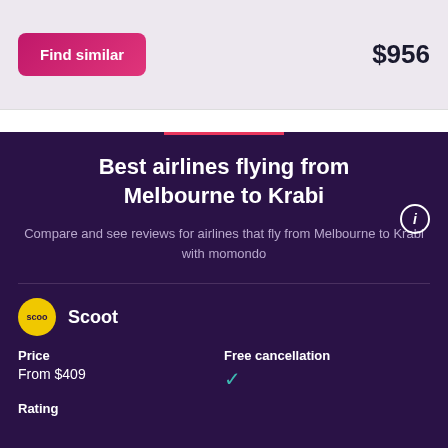Find similar
$956
Best airlines flying from Melbourne to Krabi
Compare and see reviews for airlines that fly from Melbourne to Krabi with momondo
Scoot
Price
From $409
Free cancellation
Rating